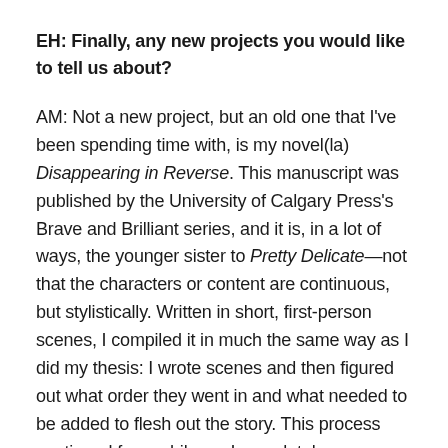EH: Finally, any new projects you would like to tell us about?
AM: Not a new project, but an old one that I've been spending time with, is my novel(la) Disappearing in Reverse. This manuscript was published by the University of Calgary Press's Brave and Brilliant series, and it is, in a lot of ways, the younger sister to Pretty Delicate—not that the characters or content are continuous, but stylistically. Written in short, first-person scenes, I compiled it in much the same way as I did my thesis: I wrote scenes and then figured out what order they went in and what needed to be added to flesh out the story. This process continued for a while, as I completely rearranged the scenes between drafts with the publisher and was guided in what needed to be